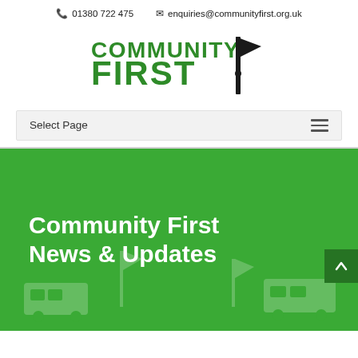📞 01380 722 475   ✉ enquiries@communityfirst.org.uk
[Figure (logo): Community First logo with green bold text 'COMMUNITY FIRST' and a black flag/pole graphic to the right]
Select Page
Community First News & Updates